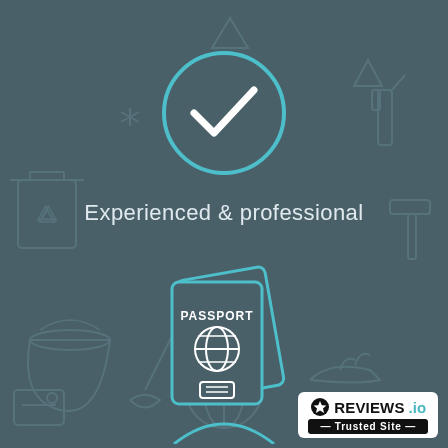[Figure (illustration): Dark teal background with faint outline icons of cleaning/household items (bucket, mop, spray bottle, recycling, tools, etc.)]
[Figure (illustration): Teal circle with white checkmark icon representing 'Experienced & professional']
Experienced & professional
[Figure (illustration): Two overlapping passport booklets icon in teal outline with 'PASSPORT' text, globe icon, and ID card icon]
Background & reference checked
[Figure (logo): REVIEWS.io Trusted Site badge in white rounded rectangle with star icon]